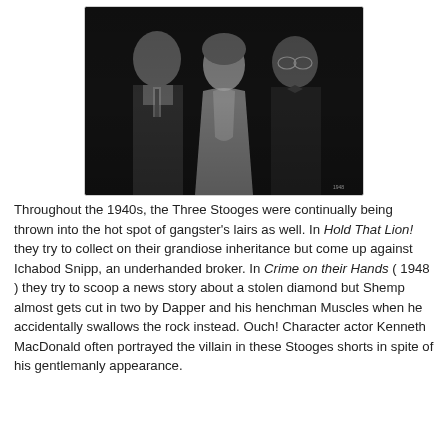[Figure (photo): Black and white still photo of three people: a tall man on the left in a dark suit, a woman in the center wearing a light dress, and an older man on the right wearing glasses and a dark suit. Appears to be a film still from the 1940s.]
Throughout the 1940s, the Three Stooges were continually being thrown into the hot spot of gangster's lairs as well. In Hold That Lion! they try to collect on their grandiose inheritance but come up against Ichabod Snipp, an underhanded broker. In Crime on their Hands ( 1948 ) they try to scoop a news story about a stolen diamond but Shemp almost gets cut in two by Dapper and his henchman Muscles when he accidentally swallows the rock instead. Ouch! Character actor Kenneth MacDonald often portrayed the villain in these Stooges shorts in spite of his gentlemanly appearance.